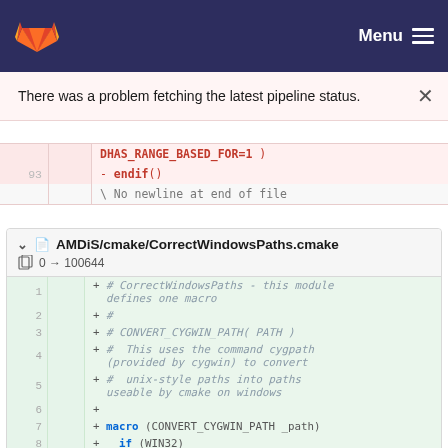GitLab — Menu
There was a problem fetching the latest pipeline status.
DHAS_RANGE_BASED_FOR=1 )
- endif()
\ No newline at end of file
AMDiS/cmake/CorrectWindowsPaths.cmake
0 → 100644
+ # CorrectWindowsPaths - this module defines one macro
+ #
+ # CONVERT_CYGWIN_PATH( PATH )
+ #  This uses the command cygpath (provided by cygwin) to convert
+ #  unix-style paths into paths useable by cmake on windows
+ +
+ macro (CONVERT_CYGWIN_PATH _path)
+   if (WIN32)